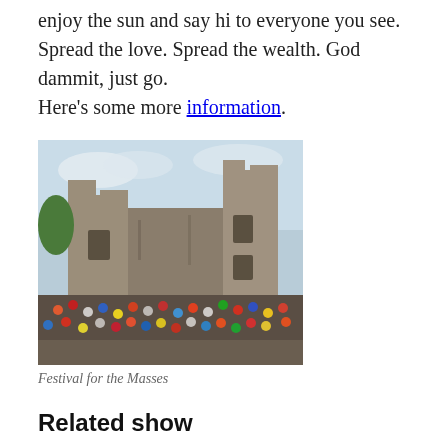enjoy the sun and say hi to everyone you see. Spread the love. Spread the wealth. God dammit, just go. Here's some more information.
[Figure (photo): Crowd of people gathered in front of ancient stone castle ruins at a festival.]
Festival for the Masses
Related show
Artist:
Paramount Styles